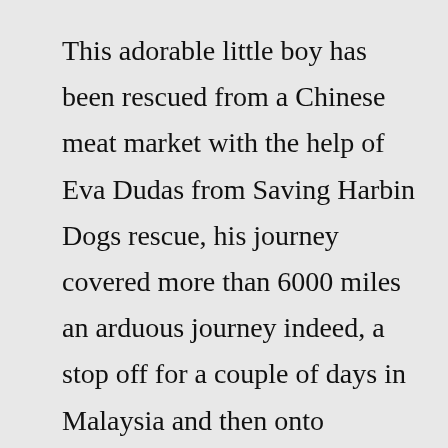This adorable little boy has been rescued from a Chinese meat market with the help of Eva Dudas from Saving Harbin Dogs rescue, his journey covered more than 6000 miles an arduous journey indeed, a stop off for a couple of days in Malaysia and then onto Heathrow.Our hope for the future is it will be rolled out in Youth Clubs, Young Farmers, Police Cadets and any other environment that captures young people